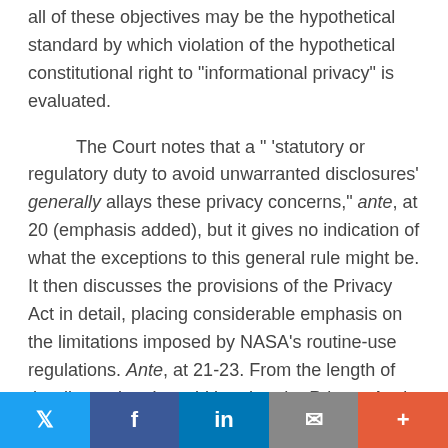all of these objectives may be the hypothetical standard by which violation of the hypothetical constitutional right to "informational privacy" is evaluated.
The Court notes that a " 'statutory or regulatory duty to avoid unwarranted disclosures' generally allays these privacy concerns," ante, at 20 (emphasis added), but it gives no indication of what the exceptions to this general rule might be. It then discusses the provisions of the Privacy Act in detail, placing considerable emphasis on the limitations imposed by NASA's routine-use regulations. Ante, at 21-23. From the length of the discussion, I would bet that the Privacy Act is necessary to today's holding, but how much of it is necessary is a mystery.
Twitter | Facebook | LinkedIn | Email | More